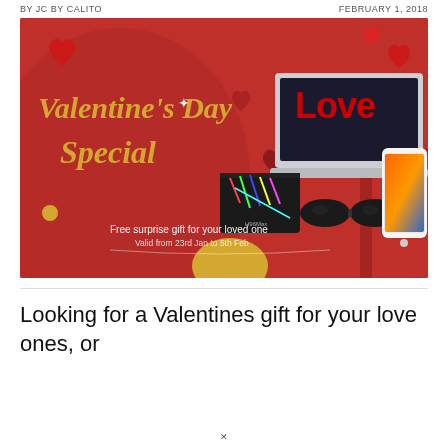BY JC BY CALITO   FEBRUARY 1, 2018
[Figure (photo): Valentine's Day Special promotional banner: red background with gold script text reading 'Valentine's Day Special', a laptop, smartphone, TV box, sunglasses, red gift box, hearts and pearl decorations. Text: 'Free surprise gift for your loved one', 'Valid from 23rd Jan to 5th Feb']
Looking for a Valentines gift for your love ones, or